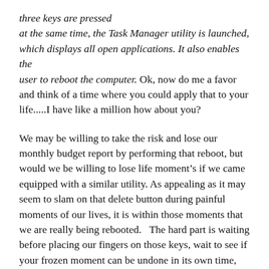three keys are pressed at the same time, the Task Manager utility is launched, which displays all open applications. It also enables the user to reboot the computer.  Ok, now do me a favor and think of a time where you could apply that to your life.....I have like a million how about you?
We may be willing to take the risk and lose our monthly budget report by performing that reboot, but would we be willing to lose life moment’s if we came equipped with a similar utility.  As appealing as it may seem to slam on that delete button during painful moments of our lives, it is within those moments that we are really being rebooted.   The hard part is waiting before placing our fingers on those keys, wait to see if your frozen moment can be undone in its own time, not by you trying to control it.